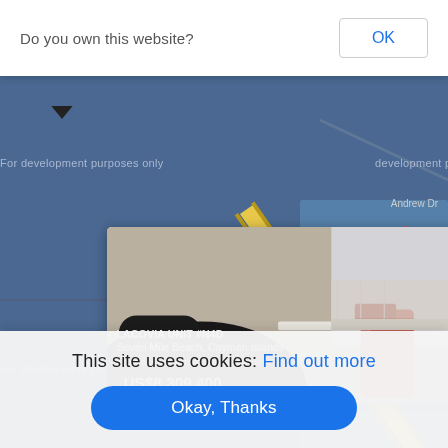Do you own this website?
OK
[Figure (screenshot): Google Maps background showing Seven Mile Beach area in Cayman Islands with 'For development purposes only' watermark, place labels including 'Saltwater Grill', 'The Sovereign', 'Andrew Dr', 'Italian & Pizza', 'ant Cayman', 'e Bar C', 'Bay', and a yellow road stripe]
LACOVIA UNIT #N4D
Seven Mile Beach, Cayman Islands
4 BEDS | 4.5 BATHS | 3777.00 SQFT
US$8,309,400
This site uses cookies: Find out more
Okay, Thanks